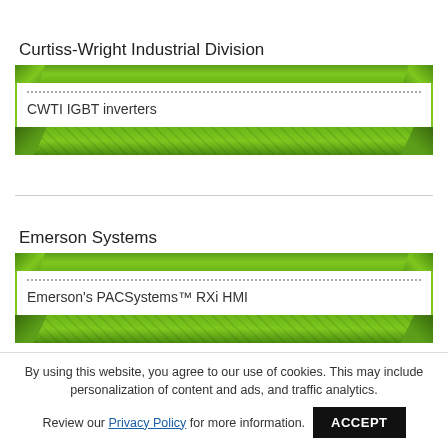Curtiss-Wright Industrial Division
CWTI IGBT inverters
Emerson Systems
Emerson's PACSystems™ RXi HMI
By using this website, you agree to our use of cookies. This may include personalization of content and ads, and traffic analytics. Review our Privacy Policy for more information.